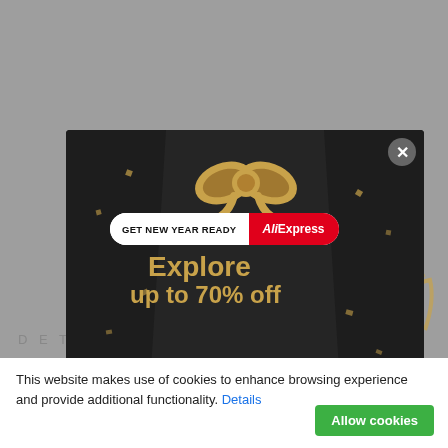[Figure (screenshot): Gray website background with partial 'DETA' text visible in the lower left area]
[Figure (screenshot): AliExpress 'GET NEW YEAR READY' promotional ad modal on dark background featuring a gold gift bow, text 'Explore up to 70% off' in gold, with a close button (x) in the top right corner of the modal]
This website makes use of cookies to enhance browsing experience and provide additional functionality. Details
Allow cookies